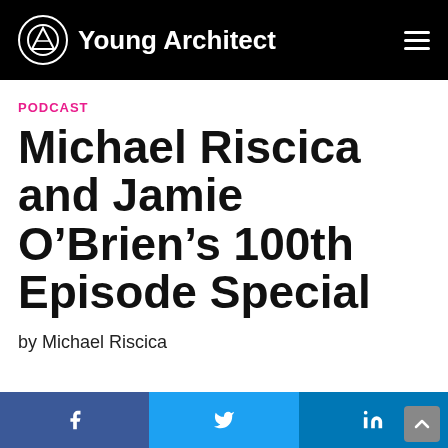Young Architect
PODCAST
Michael Riscica and Jamie O’Brien’s 100th Episode Special
by Michael Riscica